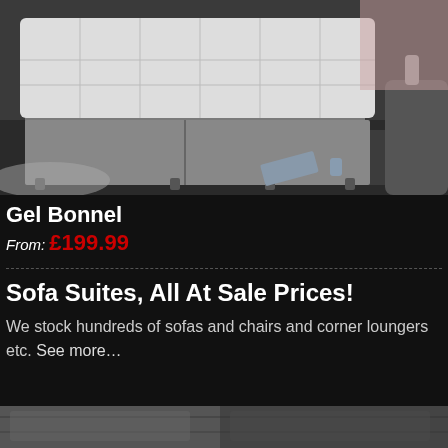[Figure (photo): Photo of a grey fabric divan bed base with white mattress, shown in a modern bedroom setting with dark floor.]
Gel Bonnel
From: £199.99
Sofa Suites, All At Sale Prices!
We stock hundreds of sofas and chairs and corner loungers etc. See more…
[Figure (photo): Bottom strip showing partial image of sofa or furniture item.]